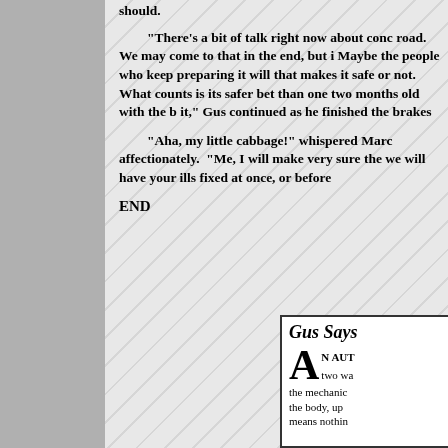should.
"There's a bit of talk right now about conc road.  We may come to that in the end, but i Maybe the people who keep preparing it will that makes it safe or not.  What counts is its safer bet than one two months old with the b it," Gus continued as he finished the brakes
"Aha, my little cabbage!" whispered Marc affectionately.  "Me, I will make very sure the we will have your ills fixed at once, or before
END
[Figure (other): Box insert with title 'Gus Says' in italic bold, followed by drop cap 'A' and text beginning 'N AUT two wa the mechanic the body, up means nothin']